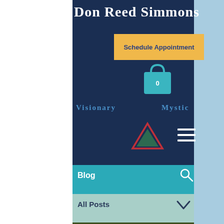Don Reed Simmons
Schedule Appointment
[Figure (illustration): Shopping bag icon with 0 badge, teal color]
Visionary
Mystic
[Figure (illustration): Triangle logo with red outline and dark green fill, centered]
[Figure (illustration): Hamburger menu icon (three horizontal lines), white]
Blog
[Figure (illustration): Search magnifying glass icon, white]
All Posts
[Figure (illustration): Chevron down arrow icon]
[Figure (photo): Outdoor nature/tree photo strip at the bottom]